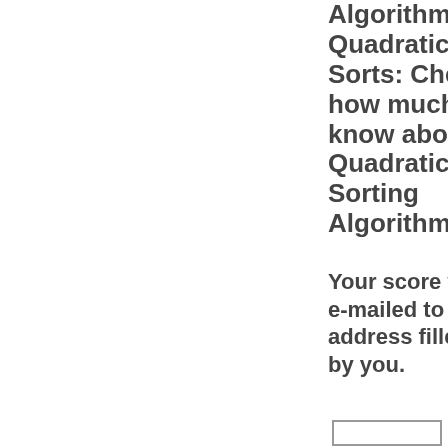Algorithms-Quadratic Sorts: Check how much you know about Quadratic Time Sorting Algorithms
Your score will be e-mailed to the address filled up by you.
[Figure (other): Empty input box outline at bottom right]